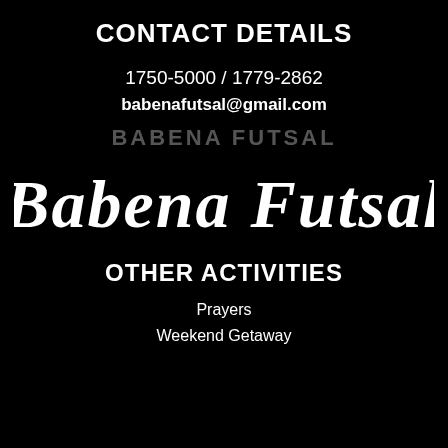CONTACT DETAILS
1750-5000 / 1779-2862
babenafutsal@gmail.com
BABENA FUTSAL
[Figure (logo): Babena Futsal script logo in white cursive lettering on black background]
OTHER ACTIVITIES
Prayers
Weekend Getaway